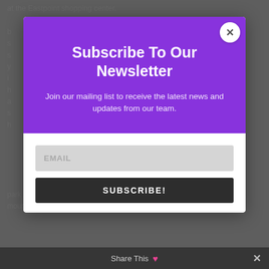at the Eastpoint shopping center.
park to see is the Bukit Timah Nature Reserve that has a mountain hike trail as well as great deals of amazing...
[Figure (screenshot): Newsletter subscription modal popup with purple header section containing title 'Subscribe To Our Newsletter' and subtitle 'Join our mailing list to receive the latest news and updates from our team.' White bottom section contains an EMAIL input field and a dark SUBSCRIBE! button. A white circular close (X) button is in the top-right corner of the modal.]
Share This